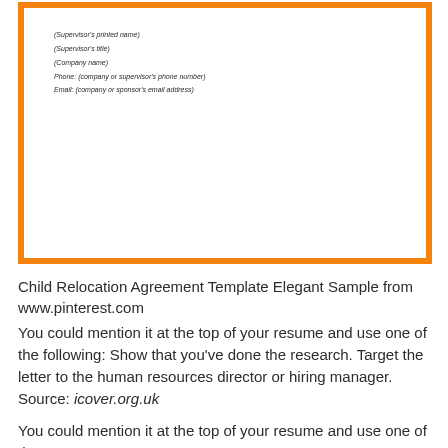[Figure (other): A document template snippet shown inside an orange border box. The document contains italic placeholder text lines: (Supervisor's printed name), (Supervisor's title), (Company name), Phone: (company or supervisor's phone number), Email: (company or sponsor's email address). Below that is blank white space.]
Child Relocation Agreement Template Elegant Sample from www.pinterest.com
You could mention it at the top of your resume and use one of the following: Show that you've done the research. Target the letter to the human resources director or hiring manager.
Source: icover.org.uk
You could mention it at the top of your resume and use one of the